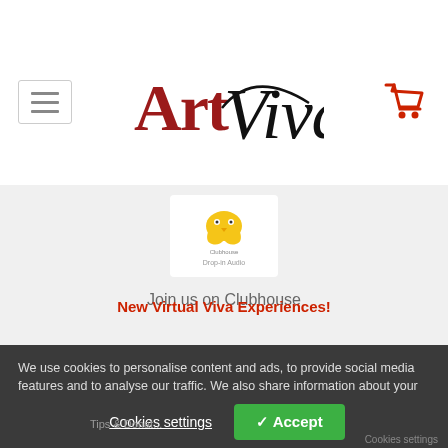[Figure (logo): ArtViva logo with 'Art' in dark red and 'Viva' in handwritten black script]
[Figure (illustration): Clubhouse app logo — yellow hands/wings icon with 'Clubhouse Drop-in Audio' text below it, on a white card]
Join us on Clubhouse
We use cookies to personalise content and ads, to provide social media features and to analyse our traffic. We also share information about your use of our site with our social media, advertising and analytics partners. View more
New Virtual Viva Experiences!
Cookies settings
✓ Accept
Tips & Donat...
Cookies settings